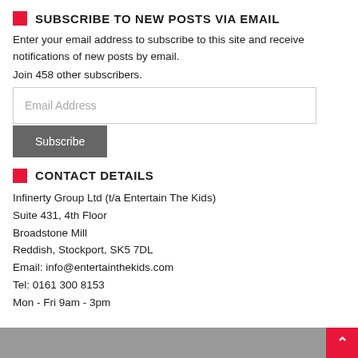SUBSCRIBE TO NEW POSTS VIA EMAIL
Enter your email address to subscribe to this site and receive notifications of new posts by email.
Join 458 other subscribers.
CONTACT DETAILS
Infinerty Group Ltd (t/a Entertain The Kids)
Suite 431, 4th Floor
Broadstone Mill
Reddish, Stockport, SK5 7DL
Email: info@entertainthekids.com
Tel: 0161 300 8153
Mon - Fri 9am - 3pm